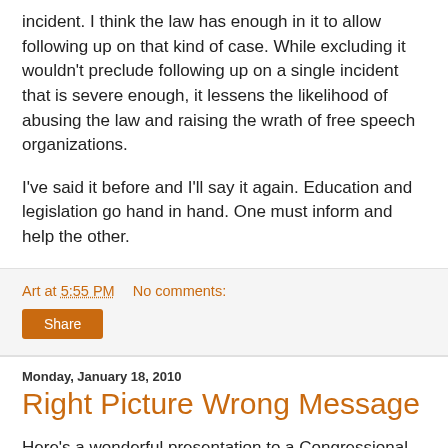incident. I think the law has enough in it to allow following up on that kind of case. While excluding it wouldn't preclude following up on a single incident that is severe enough, it lessens the likelihood of abusing the law and raising the wrath of free speech organizations.
I've said it before and I'll say it again. Education and legislation go hand in hand. One must inform and help the other.
Art at 5:55 PM    No comments:
Share
Monday, January 18, 2010
Right Picture Wrong Message
Here's a wonderful presentation to a Congressional committee about transforming education with technology. Watch it and tell me if you see anything wrong with the message that is being given.